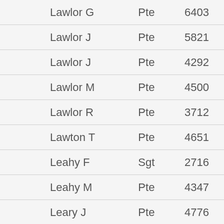| Lawlor G | Pte | 6403 |
| Lawlor J | Pte | 5821 |
| Lawlor J | Pte | 4292 |
| Lawlor M | Pte | 4500 |
| Lawlor R | Pte | 3712 |
| Lawton T | Pte | 4651 |
| Leahy F | Sgt | 2716 |
| Leahy M | Pte | 4347 |
| Leary J | Pte | 4776 |